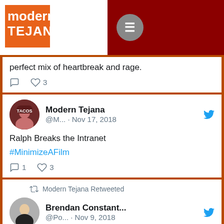modern TEJANA
perfect mix of heartbreak and rage.
Ralph Breaks the Intranet #MinimizeAFilm
Modern Tejana @M... · Nov 17, 2018
Modern Tejana Retweeted
Brendan Constant... @Po... · Nov 9, 2018
Tho I knew some of my kids needed to talk about Thousand Oaks, I didn't want to scare anyone. Instead I asked them to write a line in